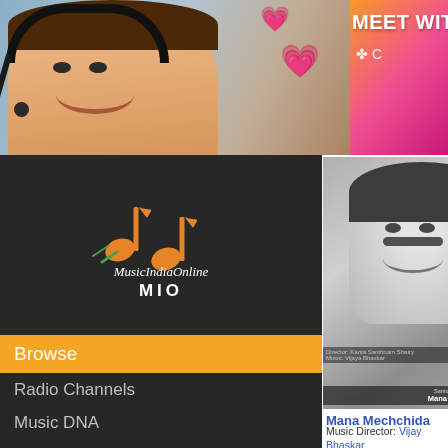[Figure (screenshot): Top banner advertisement showing a woman with headset smiling, pink hearts emoji, gradient orange-to-pink background, text 'MEET WITH L' in bold white, clover/shamrock icon]
[Figure (logo): MusicIndiaOnline MIO logo - music note icon in orange and green, stylized text 'MusicIndiaOnline' and 'MIO' on dark background]
Browse
Radio Channels
Music DNA
My Music
Help
PLAYLISTS
[Figure (photo): Black and white photo of a male singer smiling, with text overlay 'Mana Mechchida Ma' album art]
Mana Mechchida M
Music Director: Vijay Bhaskar
1
2
3
Next Page →